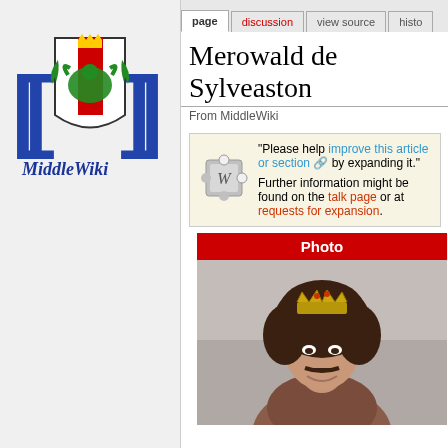[Figure (logo): MiddleWiki logo with a Welsh dragon crest on a heraldic shield with blue brackets and cursive MiddleWiki text]
Log in
page | discussion | view source | histo...
Merowald de Sylveaston
From MiddleWiki
"Please help improve this article or section by expanding it." Further information might be found on the talk page or at requests for expansion.
[Figure (photo): Photo of a person wearing a gold crown with curly hair and a mustache, smiling at the camera. Red header above reads 'Photo'.]